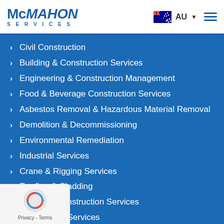[Figure (logo): McMahon Services logo with Australian flag, AU text and hamburger menu]
Civil Construction
Building & Construction Services
Engineering & Construction Management
Food & Beverage Construction Services
Asbestos Removal & Hazardous Material Removal
Demolition & Decommissioning
Environmental Remediation
Industrial Services
Crane & Rigging Services
Roofing & Cladding
Concrete Construction Services
Scrap Metal Services
Marine Contracting
Indigenous Engagement
Emergency Response & Crisis Management
Temporary Grandstands, Scaffolding & Events